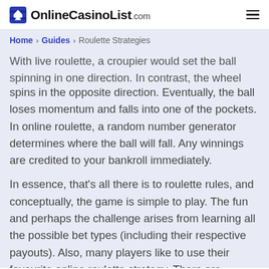OnlineCasinoList.com
Home > Guides > Roulette Strategies
With live roulette, a croupier would set the ball spinning in one direction. In contrast, the wheel spins in the opposite direction. Eventually, the ball loses momentum and falls into one of the pockets. In online roulette, a random number generator determines where the ball will fall. Any winnings are credited to your bankroll immediately.
In essence, that's all there is to roulette rules, and conceptually, the game is simple to play. The fun and perhaps the challenge arises from learning all the possible bet types (including their respective payouts). Also, many players like to use their favourite online roulette strategy. There are